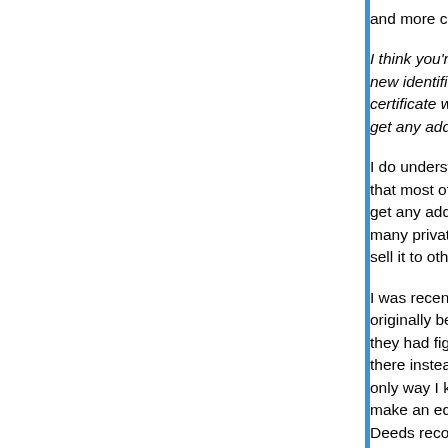and more cumbersome.
I think you're confused on one vital point. We're not talking about replacing a new identifier, we're talking about introducing a new identifier. The birth certificate would still have the SSN. Any entity that currently gets any additional information under this proposal.
I do understand that this is being pitched as a modernization of a card that most of us already have. However, "any entity that currently get any additional information" seems like a supposition that ignores the many private entities that exist to compile data, link records, and sell it to other private companies.
I was recently rather creeped out when UPS delivered a package that had originally been addressed to my PO box, and it was clear that they had figured out what they thought was my home address and sent it there instead. My home address is not listed online, but the only way I know that a private citizen could easily determine it is to make an educated guess about which county I live in and check the Deeds records. So they must have been using a profile compiled by somebody or other. (To be clear, I'm not holding UPS themselves responsible for that data mining.)
Obviously, if Congress passes legislation radically our comments will no longer apply. But that's true